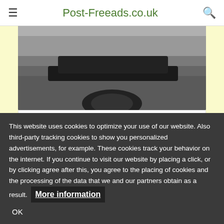Post-Freeads.co.uk
[Figure (photo): Partial view of a car from above, dark road surface visible]
[Figure (photo): Thumbnail of a dark-coloured MPV/van]
[Figure (photo): Thumbnail of a dark blue hatchback car]
[Figure (photo): Thumbnail of a white saloon car]
This website uses cookies to optimize your use of our website. Also third-party tracking cookies to show you personalized advertisements, for example. These cookies track your behavior on the internet. If you continue to visit our website by placing a click, or by clicking agree after this, you agree to the placing of cookies and the processing of the data that we and our partners obtain as a result. More information OK